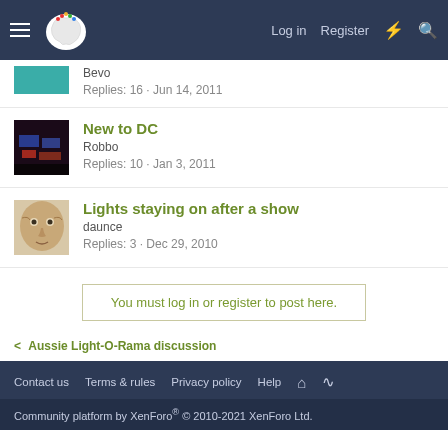Log in  Register
Bevo · Replies: 16 · Jun 14, 2011
New to DC · Robbo · Replies: 10 · Jan 3, 2011
Lights staying on after a show · daunce · Replies: 3 · Dec 29, 2010
You must log in or register to post here.
< Aussie Light-O-Rama discussion
Contact us  Terms & rules  Privacy policy  Help
Community platform by XenForo® © 2010-2021 XenForo Ltd.